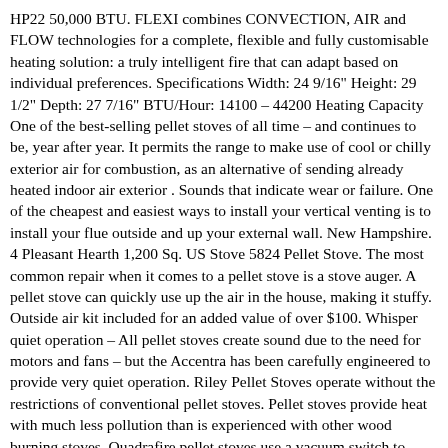HP22 50,000 BTU. FLEXI combines CONVECTION, AIR and FLOW technologies for a complete, flexible and fully customisable heating solution: a truly intelligent fire that can adapt based on individual preferences. Specifications Width: 24 9/16" Height: 29 1/2" Depth: 27 7/16" BTU/Hour: 14100 – 44200 Heating Capacity One of the best-selling pellet stoves of all time – and continues to be, year after year. It permits the range to make use of cool or chilly exterior air for combustion, as an alternative of sending already heated indoor air exterior . Sounds that indicate wear or failure. One of the cheapest and easiest ways to install your vertical venting is to install your flue outside and up your external wall. New Hampshire. 4 Pleasant Hearth 1,200 Sq. US Stove 5824 Pellet Stove. The most common repair when it comes to a pellet stove is a stove auger. A pellet stove can quickly use up the air in the house, making it stuffy. Outside air kit included for an added value of over $100. Whisper quiet operation – All pellet stoves create sound due to the need for motors and fans – but the Accentra has been carefully engineered to provide very quiet operation. Riley Pellet Stoves operate without the restrictions of conventional pellet stoves. Pellet stoves provide heat with much less pollution than is experienced with other wood burning stoves. Quadrafire pellet stoves use a vacuum switch to sense if there is sufficient combustion air flow. The fuel you choose also determines flue configuration. Enter the pellet stove. EASY Touch Control Harman's easy-to-use, industry-leading touch control